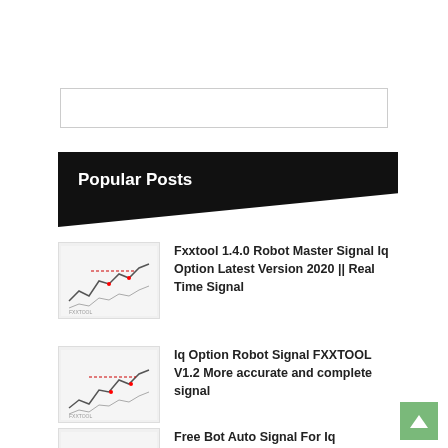[Figure (other): Empty search box / input field with border]
Popular Posts
[Figure (screenshot): Thumbnail image of a financial chart with line graph and red/blue annotations]
Fxxtool 1.4.0 Robot Master Signal Iq Option Latest Version 2020 || Real Time Signal
[Figure (screenshot): Thumbnail image of a financial chart with line graph and red/blue annotations]
Iq Option Robot Signal FXXTOOL V1.2 More accurate and complete signal
Free Bot Auto Signal For Iq